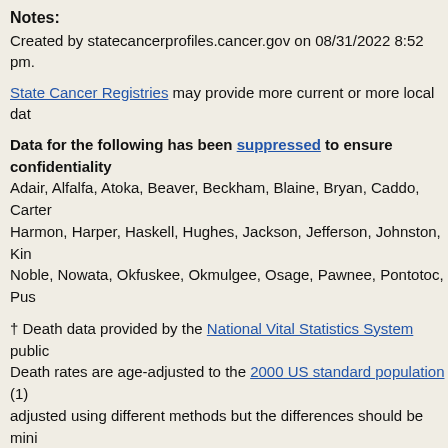Notes:
Created by statecancerprofiles.cancer.gov on 08/31/2022 8:52 pm.
State Cancer Registries may provide more current or more local dat
Data for the following has been suppressed to ensure confidentiality: Adair, Alfalfa, Atoka, Beaver, Beckham, Blaine, Bryan, Caddo, Carter, Harmon, Harper, Haskell, Hughes, Jackson, Jefferson, Johnston, Kin, Noble, Nowata, Okfuskee, Okmulgee, Osage, Pawnee, Pontotoc, Pus
† Death data provided by the National Vital Statistics System public. Death rates are age-adjusted to the 2000 US standard population (1) adjusted using different methods but the differences should be mini NCI. The 1969-2018 US Population Data File is used with mortality data. * Data has been suppressed to ensure confidentiality and stability of area-sex-race category. If an average count of 3 is shown, the total n is rounded to 3).
Interpret Rankings provides insight into interpreting cancer inciden unstable. A rate is unstable when a small change in the numerator (e
Data for United States does not include Puerto Rico.
When displaying county information, the CI*Rank for the state is no the US By State level.